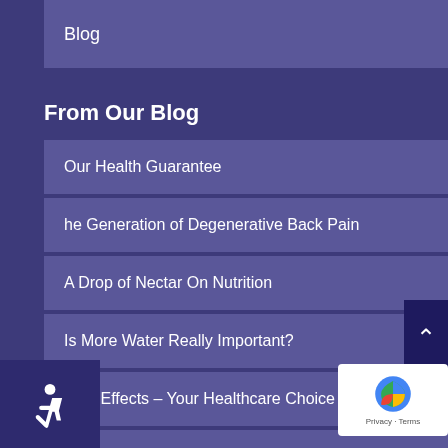Blog
From Our Blog
Our Health Guarantee
he Generation of Degenerative Back Pain
A Drop of Nectar On Nutrition
Is More Water Really Important?
Side Effects – Your Healthcare Choice
The Naked Truth